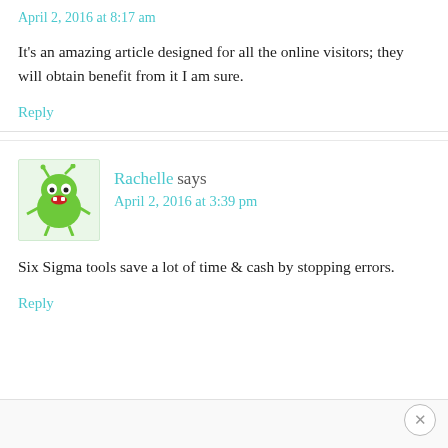April 2, 2016 at 8:17 am
It's an amazing article designed for all the online visitors; they will obtain benefit from it I am sure.
Reply
[Figure (illustration): Green cartoon monster avatar with antennae and red mouth]
Rachelle says
April 2, 2016 at 3:39 pm
Six Sigma tools save a lot of time & cash by stopping errors.
Reply